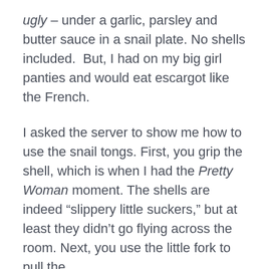ugly – under a garlic, parsley and butter sauce in a snail plate. No shells included.  But, I had on my big girl panties and would eat escargot like the French.

I asked the server to show me how to use the snail tongs. First, you grip the shell, which is when I had the Pretty Woman moment. The shells are indeed “slippery little suckers,” but at least they didn’t go flying across the room. Next, you use the little fork to pull the